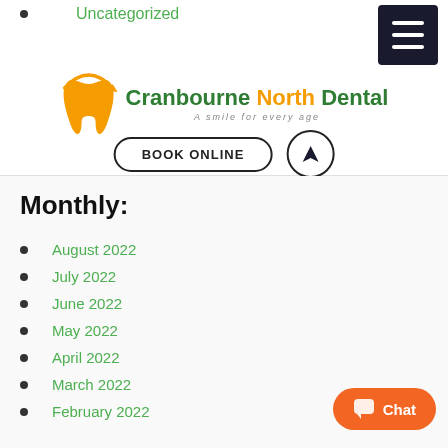Uncategorized
[Figure (logo): Cranbourne North Dental logo with orange tooth icon and navigation/book online buttons]
Monthly:
August 2022
July 2022
June 2022
May 2022
April 2022
March 2022
February 2022